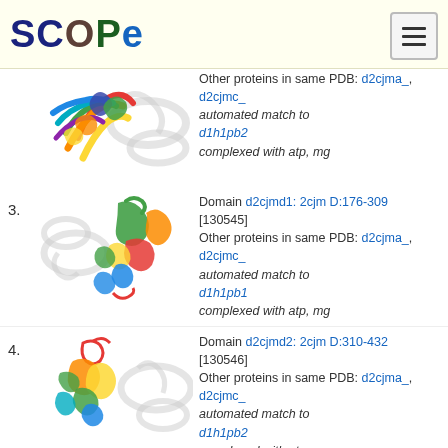SCOPe
[Figure (illustration): Partial protein structure ribbon diagram for entry 2, showing colorful helices and coils (rainbow colored) against a gray ghost structure background.]
Other proteins in same PDB: d2cjma_, d2cjmc_ automated match to d1h1pb2 complexed with atp, mg
3. Domain d2cjmd1: 2cjm D:176-309 [130545] Other proteins in same PDB: d2cjma_, d2cjmc_ automated match to d1h1pb1 complexed with atp, mg
[Figure (illustration): Protein structure ribbon diagram for entry 3 (d2cjmd1), showing colorful helices including green, orange, red, blue coils against gray ghost structure.]
4. Domain d2cjmd2: 2cjm D:310-432 [130546] Other proteins in same PDB: d2cjma_, d2cjmc_ automated match to d1h1pb2 complexed with atp, mg
[Figure (illustration): Protein structure ribbon diagram for entry 4 (d2cjmd2), showing colorful helices (rainbow: red, orange, green, cyan, blue) against gray ghost structure.]